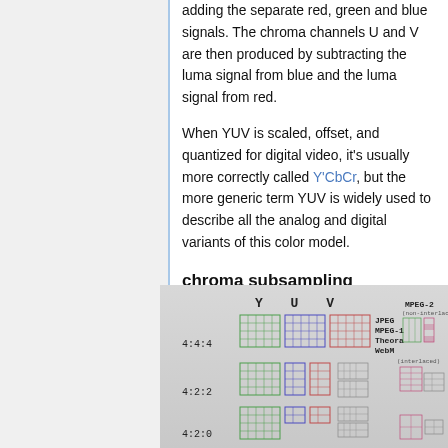adding the separate red, green and blue signals. The chroma channels U and V are then produced by subtracting the luma signal from blue and the luma signal from red.
When YUV is scaled, offset, and quantized for digital video, it's usually more correctly called Y'CbCr, but the more generic term YUV is widely used to describe all the analog and digital variants of this color model.
chroma subsampling
[Figure (illustration): A hand-drawn diagram illustrating chroma subsampling schemes (4:4:4, 4:2:2, 4:2:0) showing Y, U, V channels for different formats including JPEG, MPEG-1, Theora, WebM, and MPEG-2 (non-interlaced and interlaced).]